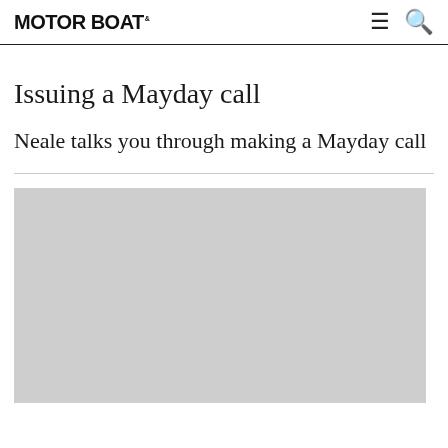MOTOR BOAT
Issuing a Mayday call
Neale talks you through making a Mayday call
[Figure (photo): Video/image placeholder showing a grey rectangle, likely a video thumbnail area for a Mayday call instructional video]